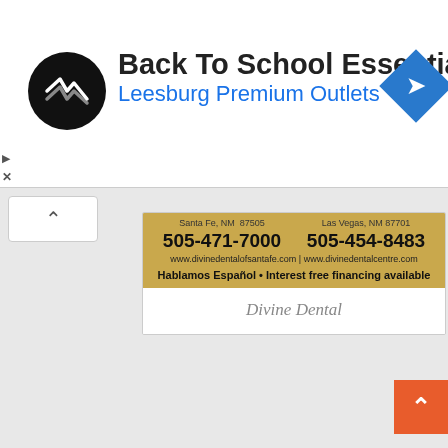[Figure (infographic): Advertisement banner for Back To School Essentials at Leesburg Premium Outlets with logo and navigation icon]
Back To School Essentials
Leesburg Premium Outlets
[Figure (infographic): Divine Dental advertisement on gold background with two locations in Santa Fe NM and Las Vegas NM, phone numbers, websites, and tagline]
Divine Dental